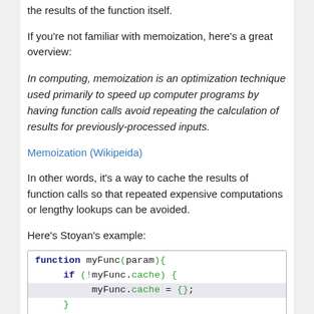the results of the function itself.
If you're not familiar with memoization, here's a great overview:
In computing, memoization is an optimization technique used primarily to speed up computer programs by having function calls avoid repeating the calculation of results for previously-processed inputs.
Memoization (Wikipeida)
In other words, it's a way to cache the results of function calls so that repeated expensive computations or lengthy lookups can be avoided.
Here's Stoyan's example:
[Figure (screenshot): Code block showing JavaScript function with memoization: function myFunc(param){ if (!myFunc.cache) { myFunc.cache = {}; } if (!myFunc.cache[param]) {]